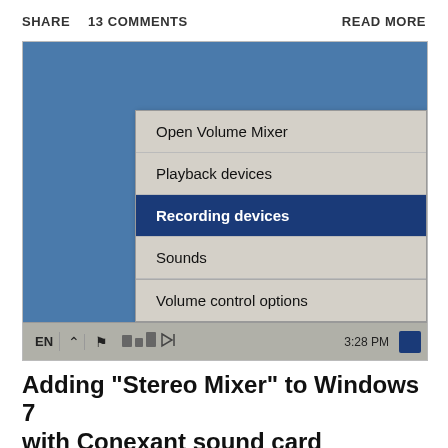SHARE   13 COMMENTS   READ MORE
[Figure (screenshot): Windows 7 desktop screenshot showing a right-click context menu on the taskbar volume icon with options: Open Volume Mixer, Playback devices, Recording devices (highlighted/selected in blue), Sounds, Volume control options. The taskbar shows EN, arrow, flag, and various system icons with time 3:28 PM.]
Adding "Stereo Mixer" to Windows 7 with Conexant sound card